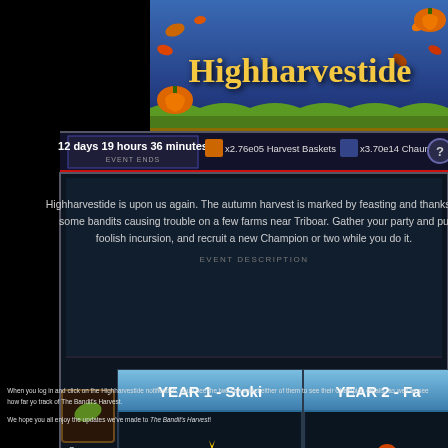[Figure (screenshot): Highharvestide game event UI showing a seasonal event screen with title banner 'Highharvestide', event timer showing '12 days 19 hours 36 minutes EVENT ENDS', resources 'x2.76e05 Harvest Baskets' and 'x3.70e14 Chauntea's Favor', event description text, and two champion cards: 'YEAR 1 - Stoki' at 75% Complete and 'YEAR 2 - Fa...' at 81% Complete, with pixel art character illustrations]
When you log in and click on the Highharvestide notification, you'll see the two can select either of them to see their Champion details, as well as see how far yo track of The Bandit's Harvest.
We hope you all enjoy the updates we've made to The Bandit's Harvest!